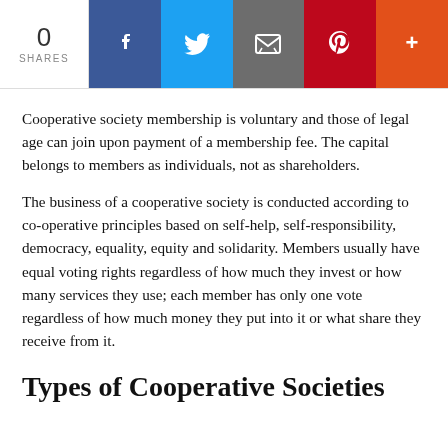[Figure (infographic): Social share bar showing 0 shares, with buttons for Facebook, Twitter, Email, Pinterest, and more (+)]
Cooperative society membership is voluntary and those of legal age can join upon payment of a membership fee. The capital belongs to members as individuals, not as shareholders.
The business of a cooperative society is conducted according to co-operative principles based on self-help, self-responsibility, democracy, equality, equity and solidarity. Members usually have equal voting rights regardless of how much they invest or how many services they use; each member has only one vote regardless of how much money they put into it or what share they receive from it.
Types of Cooperative Societies